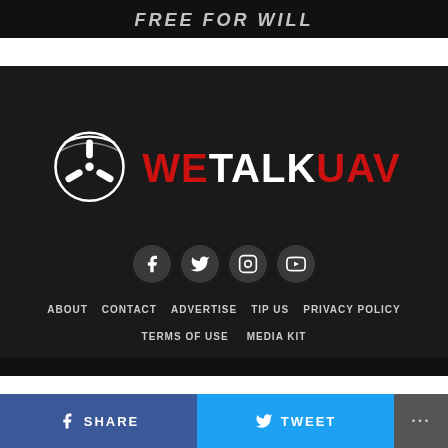[Figure (screenshot): Dark banner at top with partial white text visible, styled like a video title overlay]
[Figure (logo): WeTalkUAV logo — drone propeller icon in white on dark background, with WETALKUAV text where WE and UAV are in red, TALK is in white]
[Figure (infographic): Row of four social media icon circles (Facebook, Twitter, Instagram, YouTube) on dark background]
ABOUT   CONTACT   ADVERTISE   TIP US   PRIVACY POLICY   TERMS OF USE   MEDIA KIT
[Figure (infographic): Share bar at bottom: blue SHARE button on left, lighter blue TWEET button in center, gray more (...) button on right]